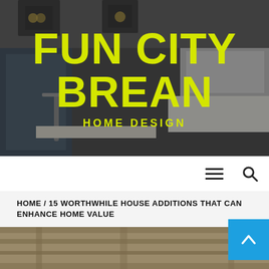[Figure (photo): Kitchen interior photo used as header background, showing pendant lights, kitchen faucet, counter and hood, with dark overlay]
FUN CITY BREAN
HOME DESIGN
≡   🔍
HOME / 15 WORTHWHILE HOUSE ADDITIONS THAT CAN ENHANCE HOME VALUE
[Figure (photo): Partial view of a construction or house addition photo at the bottom of the page]